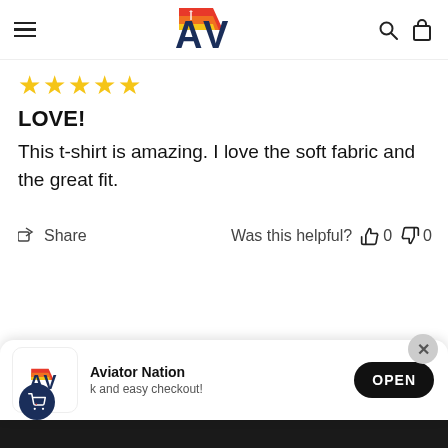Aviator Nation logo with navigation icons
★★★★★
LOVE!
This t-shirt is amazing. I love the soft fabric and the great fit.
Share  Was this helpful? 👍 0 👎 0
MORE ITEMS TO CONSIDER
[Figure (screenshot): App install popup banner with Aviator Nation logo, shopping cart icon, text 'Aviator Nation' and 'k and easy checkout!' with an OPEN button and close X button]